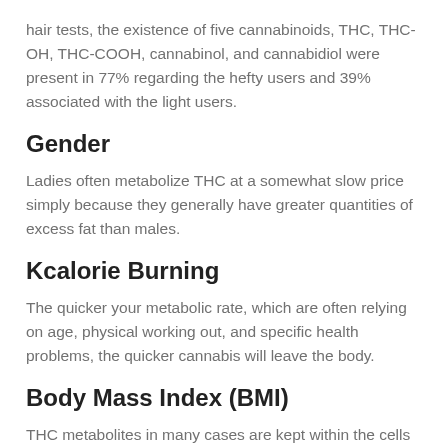hair tests, the existence of five cannabinoids, THC, THC-OH, THC-COOH, cannabinol, and cannabidiol were present in 77% regarding the hefty users and 39% associated with the light users.
Gender
Ladies often metabolize THC at a somewhat slow price simply because they generally have greater quantities of excess fat than males.
Kcalorie Burning
The quicker your metabolic rate, which are often relying on age, physical working out, and specific health problems, the quicker cannabis will leave the body.
Body Mass Index (BMI)
THC metabolites in many cases are kept within the cells that are fat your system, so that the higher your system fat (or BMI), the